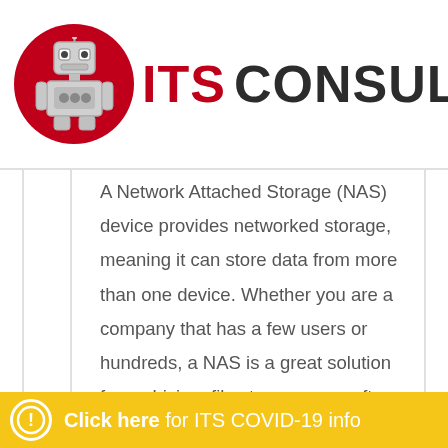ITS CONSULTING
A Network Attached Storage (NAS) device provides networked storage, meaning it can store data from more than one device. Whether you are a company that has a few users or hundreds, a NAS is a great solution for archiving, file storage, as an ftp server, or many other options.
The administrator of a home or business network can connect a NAS to their LAN (Local Area Network), and using software that normally is provided with the NAS hardware. A network administrator can set up automatic or manual backups and file copies between the NAS and other connected devices. A NAS can hold as much data as
Click here for ITS COVID-19 info